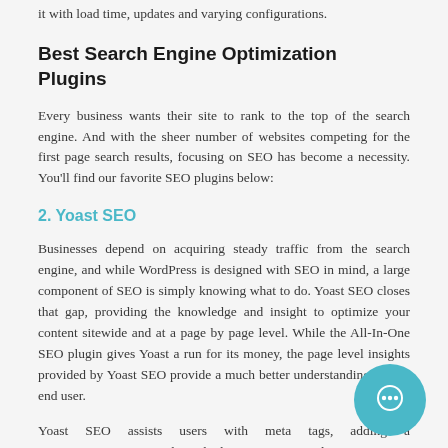it with load time, updates and varying configurations.
Best Search Engine Optimization Plugins
Every business wants their site to rank to the top of the search engine. And with the sheer number of websites competing for the first page search results, focusing on SEO has become a necessity. You'll find our favorite SEO plugins below:
2. Yoast SEO
Businesses depend on acquiring steady traffic from the search engine, and while WordPress is designed with SEO in mind, a large component of SEO is simply knowing what to do. Yoast SEO closes that gap, providing the knowledge and insight to optimize your content sitewide and at a page by page level. While the All-In-One SEO plugin gives Yoast a run for its money, the page level insights provided by Yoast SEO provide a much better understanding for the end user.
Yoast SEO assists users with meta tags, adding a s... avoiding duplicate content and connecting to Google Search Console. Yoast SEO also provides a Google